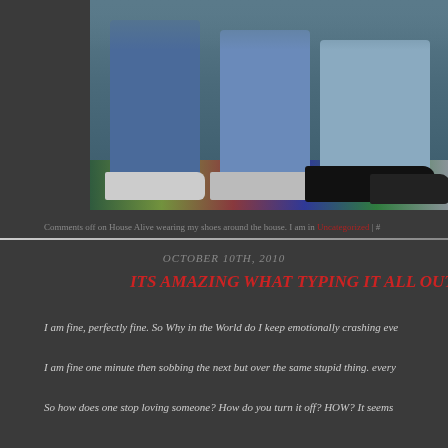[Figure (photo): Photo of three people's lower bodies showing jeans and shoes standing on a colorful patterned rug/floor]
Comments off on House Alive wearing my shoes around the house. I am in Uncategorized #
OCTOBER 10TH, 2010
ITS AMAZING WHAT TYPING IT ALL OUT CAN DO FO
I am fine, perfectly fine. So Why in the World do I keep emotionally crashing eve
I am fine one minute then sobbing the next but over the same stupid thing. every
So how does one stop loving someone? How do you turn it off? HOW? It seems